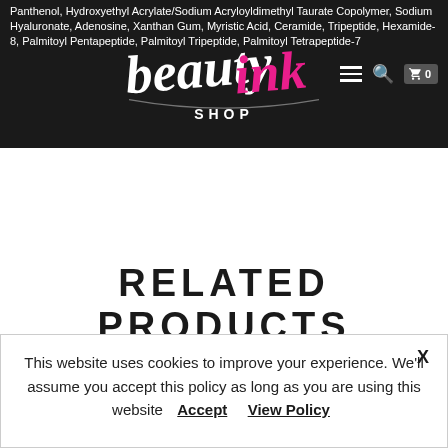Panthenol, Hydroxyethyl Acrylate/Sodium Acryloyldimethyl Taurate Copolymer, Sodium Hyaluronate, Adenosine, Xanthan Gum, Myristic Acid, Ceramide, Tripeptide, Hexamide-8, Palmitoyl Pentapeptide, Palmitoyl Tripeptide, Palmitoyl Tetrapeptide-7
[Figure (logo): Beauty Ink Shop logo — cursive white and pink lettering with 'beautyink' in script and 'SHOP' in sans-serif below, on dark background]
RELATED PRODUCTS
This website uses cookies to improve your experience. We'll assume you accept this policy as long as you are using this website  Accept  View Policy